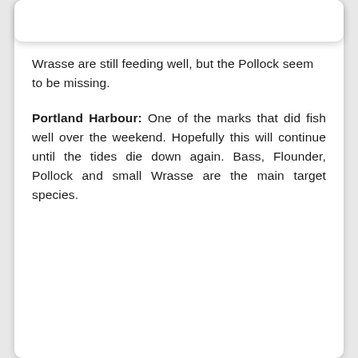Wrasse are still feeding well, but the Pollock seem to be missing.
Portland Harbour: One of the marks that did fish well over the weekend. Hopefully this will continue until the tides die down again. Bass, Flounder, Pollock and small Wrasse are the main target species.